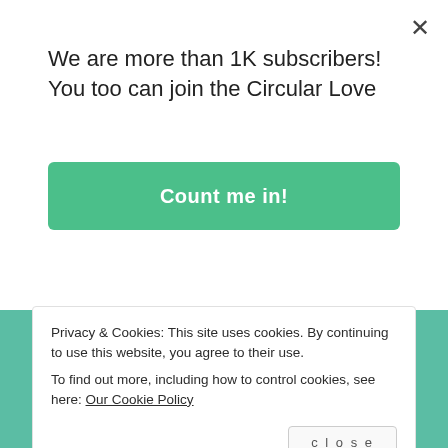We are more than 1K subscribers! You too can join the Circular Love
[Figure (other): Green 'Count me in!' subscription button]
ecogreenlove provides eco-conscious tips for everyday 💚
Privacy & Cookies: This site uses cookies. By continuing to use this website, you agree to their use. To find out more, including how to control cookies, see here: Our Cookie Policy
close